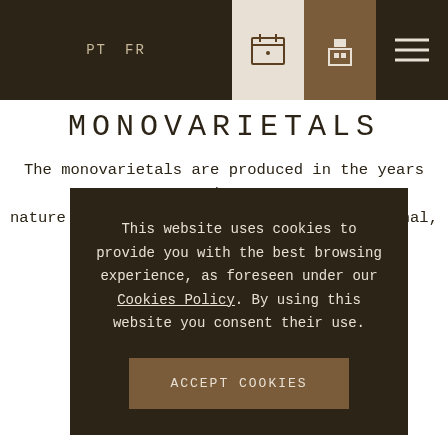PT  FR  [calendar icon] [building icon] [menu icon]
MONOVARIETALS
The monovarietals are produced in the years when nature permits. Aragonês and Touriga Nacional, in the case [...]rinto,
This website uses cookies to provide you with the best browsing experience, as foreseen under our Cookies Policy. By using this website you consent their use.
ACCEPT COOKIES